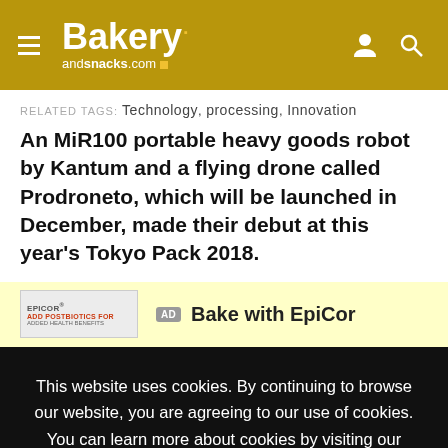Bakery andsnacks.com
RELATED TAGS: Technology, processing, Innovation
An MiR100 portable heavy goods robot by Kantum and a flying drone called Prodroneto, which will be launched in December, made their debut at this year's Tokyo Pack 2018.
[Figure (other): Advertisement banner with EpiCor logo image and text 'AD Bake with EpiCor' on yellow background]
This website uses cookies. By continuing to browse our website, you are agreeing to our use of cookies. You can learn more about cookies by visiting our privacy & cookies policy page.